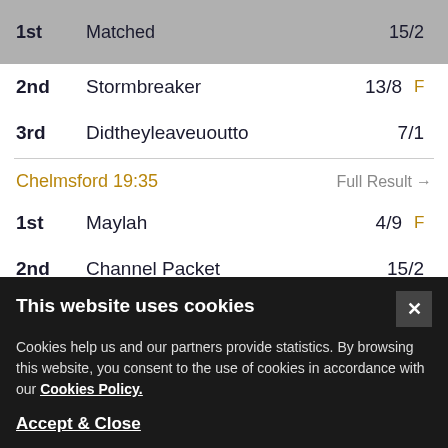| Position | Horse | Odds | Flag |
| --- | --- | --- | --- |
| 1st | Matched | 15/2 |  |
| 2nd | Stormbreaker | 13/8 | F |
| 3rd | Didtheyleaveuoutto | 7/1 |  |
Chelmsford 19:35   Full Result →
| Position | Horse | Odds | Flag |
| --- | --- | --- | --- |
| 1st | Maylah | 4/9 | F |
| 2nd | Channel Packet | 15/2 |  |
| 3rd | Just Albert | 22/1 |  |
This website uses cookies
Cookies help us and our partners provide statistics. By browsing this website, you consent to the use of cookies in accordance with our Cookies Policy.
Accept & Close